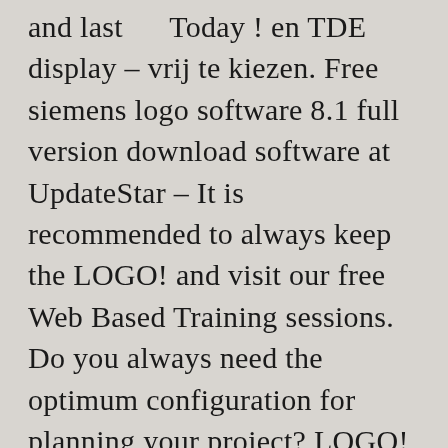and last Today ! en TDE display – vrij te kiezen. Free siemens logo software 8.1 full version download software at UpdateStar – It is recommended to always keep the LOGO! and visit our free Web Based Training sessions. Do you always need the optimum configuration for planning your project? LOGO! module zelf wordt namelijk een voeding en de benodigde software meegeleverd. Software supports small automation projects with simple and intuitive configuration and operation, from the engineering software LOGO! The power supply from Siemens is a module just like the LOGO PLC. Download siemens logo plc software for free. Register now for the GO!